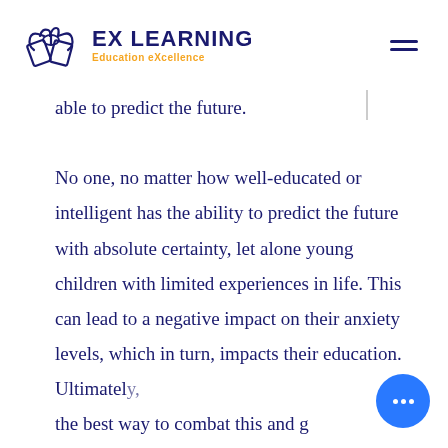EX LEARNING Education eXcellence
able to predict the future.

No one, no matter how well-educated or intelligent has the ability to predict the future with absolute certainty, let alone young children with limited experiences in life. This can lead to a negative impact on their anxiety levels, which in turn, impacts their education. Ultimately, the best way to combat this and g…